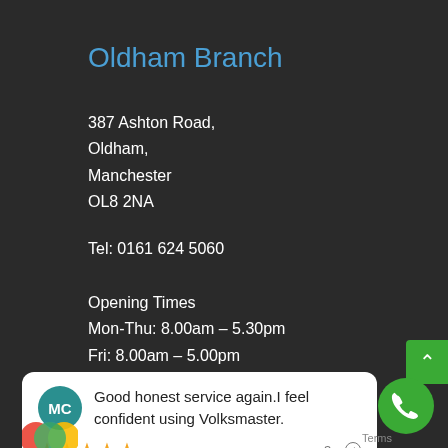Oldham Branch
387 Ashton Road,
Oldham,
Manchester
OL8 2NA
Tel: 0161 624 5060
Opening Times
Mon-Thu: 8.00am – 5.30pm
Fri: 8.00am – 5.00pm
Sat & Sun: Closed
Volksmaster Oldham
Good honest service again.I feel confident using Volksmaster.
3m